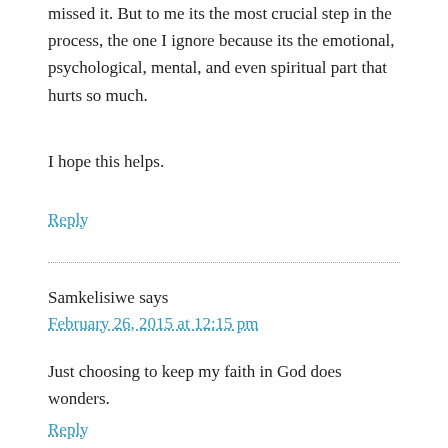missed it. But to me its the most crucial step in the process, the one I ignore because its the emotional, psychological, mental, and even spiritual part that hurts so much.
I hope this helps.
Reply
Samkelisiwe says
February 26, 2015 at 12:15 pm
Just choosing to keep my faith in God does wonders.
Reply